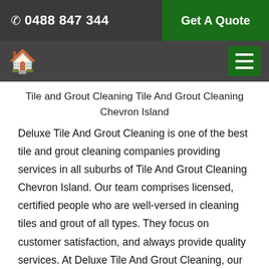☎ 0488 847 344   Get A Quote
🏠  ☰
Tile and Grout Cleaning Tile And Grout Cleaning Chevron Island
Deluxe Tile And Grout Cleaning is one of the best tile and grout cleaning companies providing services in all suburbs of Tile And Grout Cleaning Chevron Island. Our team comprises licensed, certified people who are well-versed in cleaning tiles and grout of all types. They focus on customer satisfaction, and always provide quality services. At Deluxe Tile And Grout Cleaning, our prices for tile and grout cleaning services are reasonable, and there are no hidden charges. If